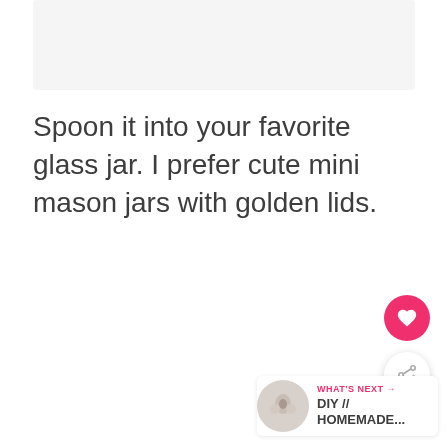[Figure (photo): Top image placeholder (partially visible photo)]
Spoon it into your favorite glass jar. I prefer cute mini mason jars with golden lids.
[Figure (other): Heart/favorite button (pink circle with heart icon)]
[Figure (other): Share button (white circle with share icon)]
[Figure (other): What's Next thumbnail with label: WHAT'S NEXT → DIY // HOMEMADE...]